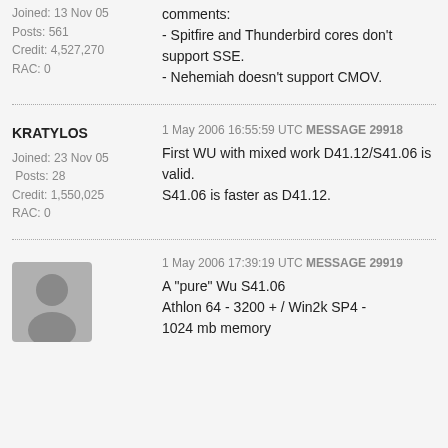Joined: 13 Nov 05
Posts: 561
Credit: 4,527,270
RAC: 0
comments:
- Spitfire and Thunderbird cores don't support SSE.
- Nehemiah doesn't support CMOV.
KRATYLOS
Joined: 23 Nov 05
Posts: 28
Credit: 1,550,025
RAC: 0
1 May 2006 16:55:59 UTC MESSAGE 29918
First WU with mixed work D41.12/S41.06 is valid.
S41.06 is faster as D41.12.
[Figure (illustration): Generic user avatar placeholder (grey silhouette of a person on grey background)]
1 May 2006 17:39:19 UTC MESSAGE 29919
A "pure" Wu S41.06
Athlon 64 - 3200 + / Win2k SP4 -
1024 mb memory